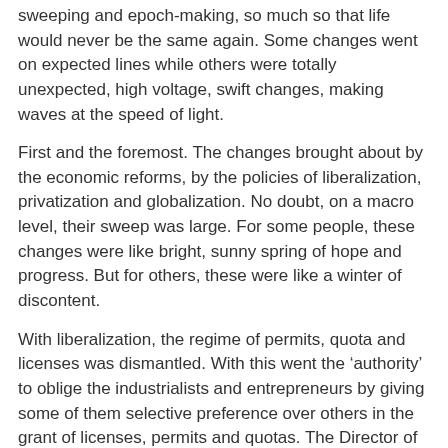sweeping and epoch-making, so much so that life would never be the same again. Some changes went on expected lines while others were totally unexpected, high voltage, swift changes, making waves at the speed of light.
First and the foremost. The changes brought about by the economic reforms, by the policies of liberalization, privatization and globalization. No doubt, on a macro level, their sweep was large. For some people, these changes were like bright, sunny spring of hope and progress. But for others, these were like a winter of discontent.
With liberalization, the regime of permits, quota and licenses was dismantled. With this went the ‘authority’ to oblige the industrialists and entrepreneurs by giving some of them selective preference over others in the grant of licenses, permits and quotas. The Director of Industries, a cadre post for IAS, which used to be a coveted post remained no longer so after liberalization.
Liberalization also saw the gradual diminishing of the role of other departments and their related posts, like those in Civil Supplies Departments, by and by being sidelined, it was difficult to